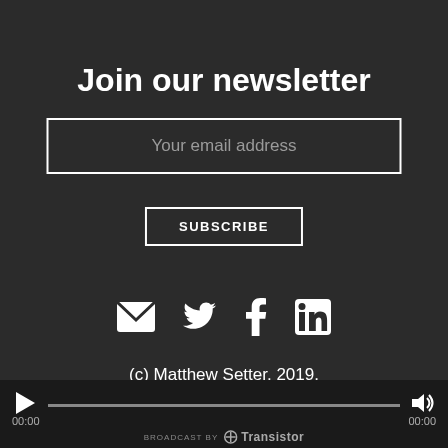Join our newsletter
Your email address
SUBSCRIBE
[Figure (infographic): Social media icons: email, Twitter, Facebook, LinkedIn]
(c) Matthew Setter, 2019.
BROADCAST BY Transistor — audio player bar showing 00:00 / 00:00